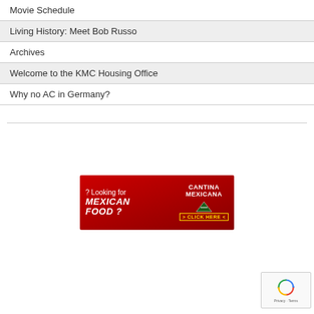Movie Schedule
Living History: Meet Bob Russo
Archives
Welcome to the KMC Housing Office
Why no AC in Germany?
[Figure (illustration): Red advertisement banner for Cantina Mexicana restaurant reading 'Looking for Mexican Food? > CLICK HERE <' with logo]
[Figure (other): reCAPTCHA widget showing recycling arrows icon and Privacy - Terms text]